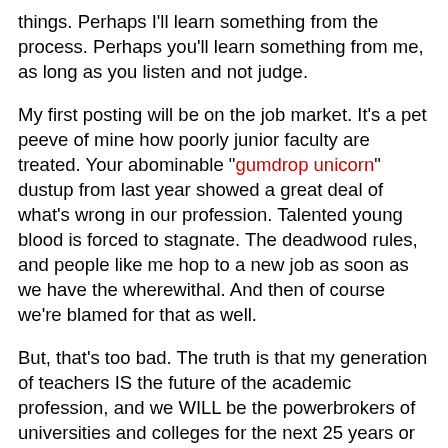things. Perhaps I'll learn something from the process. Perhaps you'll learn something from me, as long as you listen and not judge.
My first posting will be on the job market. It's a pet peeve of mine how poorly junior faculty are treated. Your abominable "gumdrop unicorn" dustup from last year showed a great deal of what's wrong in our profession. Talented young blood is forced to stagnate. The deadwood rules, and people like me hop to a new job as soon as we have the wherewithal. And then of course we're blamed for that as well.
But, that's too bad. The truth is that my generation of teachers IS the future of the academic profession, and we WILL be the powerbrokers of universities and colleges for the next 25 years or so. So what we do, how we handle ourselves, and the courses WE chart will make the American academy what it will be. You don't like it? You don't have to. Attrition is a wonderful tool. Step aside now or later. It makes no difference.
So, I'm on the market this year, despite the fact that I'm at a